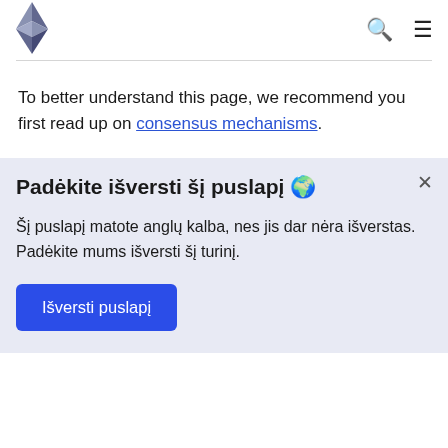[Figure (logo): Ethereum diamond logo in purple/blue gradient]
To better understand this page, we recommend you first read up on consensus mechanisms.
Padėkite išversti šį puslapį 🌍
Šį puslapį matote anglų kalba, nes jis dar nėra išverstas. Padėkite mums išversti šį turinį.
Išversti puslapį